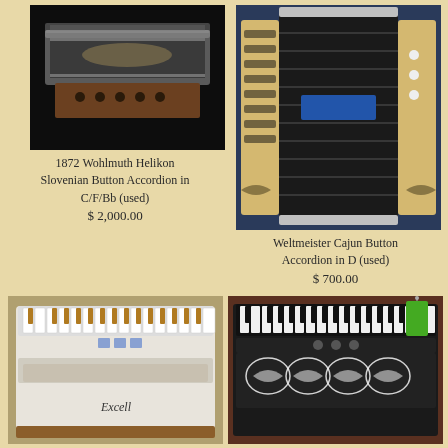[Figure (photo): 1872 Wohlmuth Helikon Slovenian Button Accordion in C/F/Bb (used) — antique metallic accordion on black background]
1872 Wohlmuth Helikon Slovenian Button Accordion in C/F/Bb (used)
$ 2,000.00
[Figure (photo): Weltmeister Cajun Button Accordion in D (used) — light wood and black bellows accordion on blue background]
Weltmeister Cajun Button Accordion in D (used)
$ 700.00
[Figure (photo): White piano accordion with gold/brown keys — Excell brand, used]
[Figure (photo): Black piano accordion with decorative white floral pattern and green price tag]